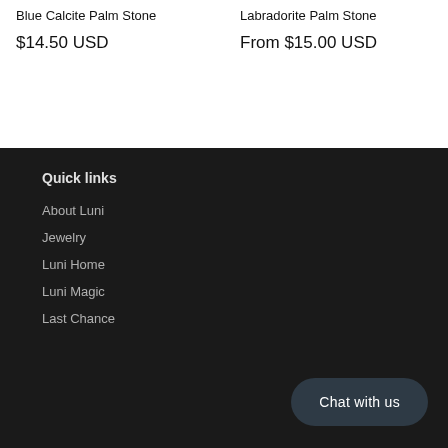Blue Calcite Palm Stone
$14.50 USD
Labradorite Palm Stone
From $15.00 USD
Quick links
About Luni
Jewelry
Luni Home
Luni Magic
Last Chance
Chat with us